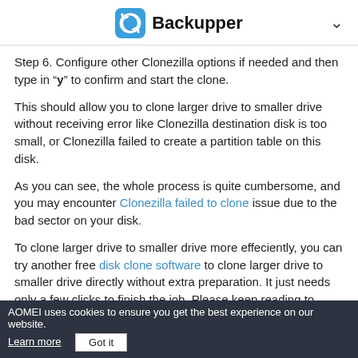Backupper
Step 6. Configure other Clonezilla options if needed and then type in "y" to confirm and start the clone.
This should allow you to clone larger drive to smaller drive without receiving error like Clonezilla destination disk is too small, or Clonezilla failed to create a partition table on this disk.
As you can see, the whole process is quite cumbersome, and you may encounter Clonezilla failed to clone issue due to the bad sector on your disk.
To clone larger drive to smaller drive more effeciently, you can try another free disk clone software to clone larger drive to smaller drive directly without extra preparation. It just needs only a few clicks to finish the job. Please keep reading to learn
AOMEI uses cookies to ensure you get the best experience on our website. Learn more  Got it